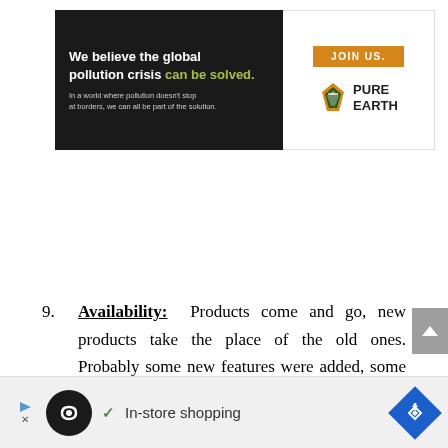[Figure (infographic): Pure Earth advertisement banner with black left panel reading 'We believe the global pollution crisis can be solved.' in white/green text with small subtext, and white right panel with orange JOIN US button and Pure Earth logo with diamond icon]
9. Availability: Products come and go, new products take the place of the old ones. Probably some new features were added, some necessary modifications were done. What's the point of
[Figure (infographic): Bottom advertisement banner with circular icon, checkmark and 'In-store shopping' text, and blue diamond arrow icon on white/gray background]